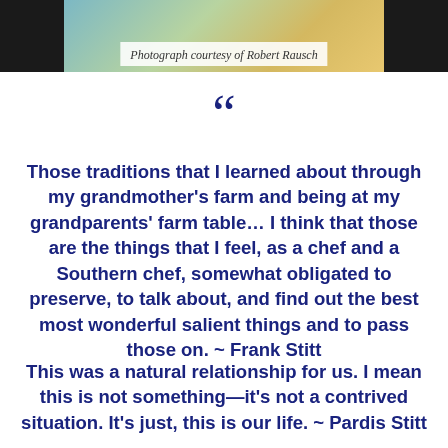[Figure (photo): Photograph of a person, partially visible at the top of the page against a colorful background]
Photograph courtesy of Robert Rausch
““
Those traditions that I learned about through my grandmother’s farm and being at my grandparents’ farm table… I think that those are the things that I feel, as a chef and a Southern chef, somewhat obligated to preserve, to talk about, and find out the best most wonderful salient things and to pass those on. ~ Frank Stitt
This was a natural relationship for us. I mean this is not something—it’s not a contrived situation. It’s just, this is our life. ~ Pardis Stitt